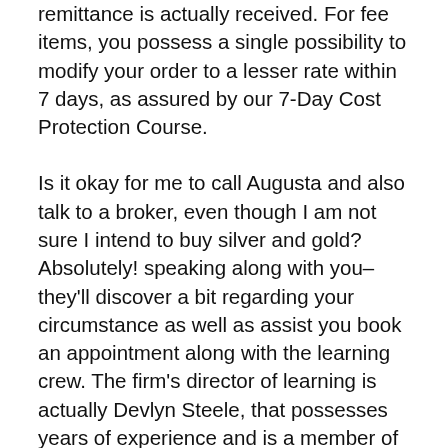remittance is actually received. For fee items, you possess a single possibility to modify your order to a lesser rate within 7 days, as assured by our 7-Day Cost Protection Course.
Is it okay for me to call Augusta and also talk to a broker, even though I am not sure I intend to buy silver and gold? Absolutely! speaking along with you– they'll discover a bit regarding your circumstance as well as assist you book an appointment along with the learning crew. The firm's director of learning is actually Devlyn Steele, that possesses years of experience and is a member of the Harvard Organization School analytics course. Throughout your visit, the crew reveals what's occurring with the